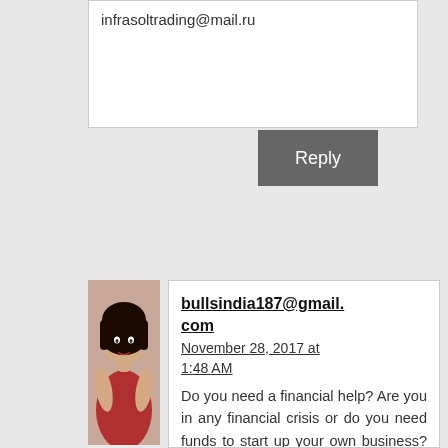infrasoltrading@mail.ru
Reply
[Figure (photo): Avatar photo of a woman in a red outfit]
bullsindia187@gmail.com
November 28, 2017 at 1:48 AM
Do you need a financial help? Are you in any financial crisis or do you need funds to start up your own business? Do you need funds to settle your debt or pay off your bills or start a good business? Do you have a low credit score and you are